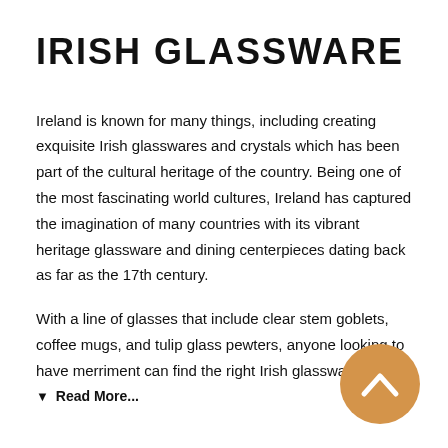IRISH GLASSWARE
Ireland is known for many things, including creating exquisite Irish glasswares and crystals which has been part of the cultural heritage of the country. Being one of the most fascinating world cultures, Ireland has captured the imagination of many countries with its vibrant heritage glassware and dining centerpieces dating back as far as the 17th century.
With a line of glasses that include clear stem goblets, coffee mugs, and tulip glass pewters, anyone looking to have merriment can find the right Irish glassware fo…
▼ Read More...